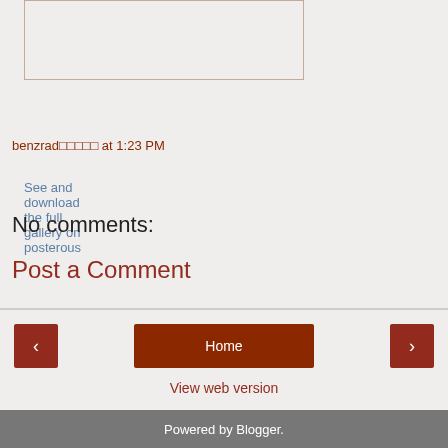[Figure (photo): Image placeholder box with border]
See and download the full gallery on posterous
benzrad□□□□□ at 1:23 PM
Share
No comments:
Post a Comment
‹ | Home | ›
View web version
Powered by Blogger.